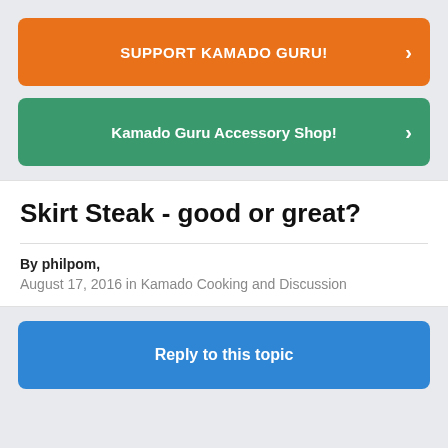[Figure (other): Orange button with text SUPPORT KAMADO GURU! and a right chevron arrow]
[Figure (other): Green button with text Kamado Guru Accessory Shop! and a right chevron arrow]
Skirt Steak - good or great?
By philpom,
August 17, 2016 in Kamado Cooking and Discussion
[Figure (other): Blue button with text Reply to this topic]